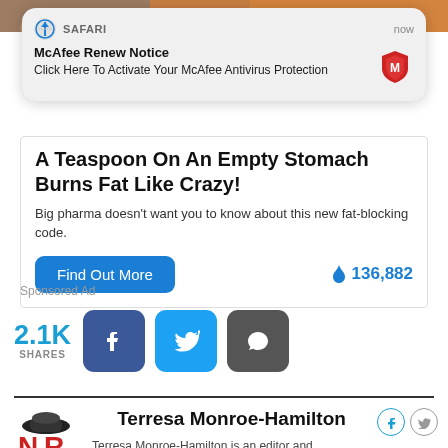[Figure (screenshot): Top portion of a food/cooking related photo strip showing hands and food]
[Figure (screenshot): Safari browser notification popup - McAfee Renew Notice: Click Here To Activate Your McAfee Antivirus Protection]
A Teaspoon On An Empty Stomach Burns Fat Like Crazy!
Big pharma doesn't want you to know about this new fat-blocking code.
Find Out More
136,882
Sponsored Ad
2.1K SHARES
Terresa Monroe-Hamilton
Terresa Monroe-Hamilton is an editor and